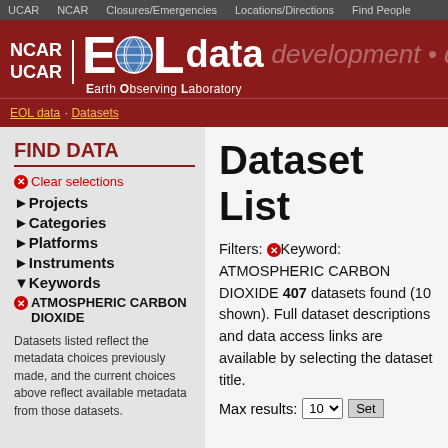UCAR  NCAR  Closures/Emergencies  Locations/Directions  Find People
[Figure (logo): NCAR UCAR EOL data - Earth Observing Laboratory logo with globe on dark red banner background, with 'development • dep' text faded on right]
EOL data · Datasets
FIND DATA
Clear selections
Projects
Categories
Platforms
Instruments
Keywords
ATMOSPHERIC CARBON DIOXIDE
Datasets listed reflect the metadata choices previously made, and the current choices above reflect available metadata from those datasets.
Dataset List
Filters: Keyword: ATMOSPHERIC CARBON DIOXIDE 407 datasets found (10 shown). Full dataset descriptions and data access links are available by selecting the dataset title.
Max results: 10 Set